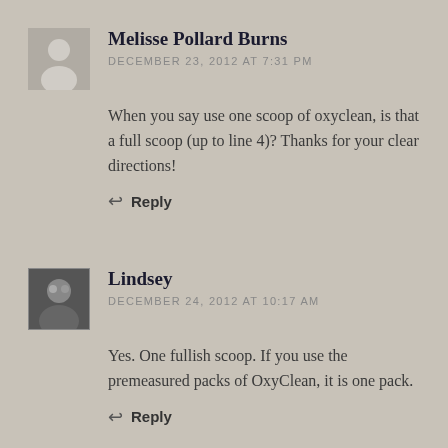Melisse Pollard Burns
DECEMBER 23, 2012 AT 7:31 PM
When you say use one scoop of oxyclean, is that a full scoop (up to line 4)? Thanks for your clear directions!
Reply
Lindsey
DECEMBER 24, 2012 AT 10:17 AM
Yes. One fullish scoop. If you use the premeasured packs of OxyClean, it is one pack.
Reply